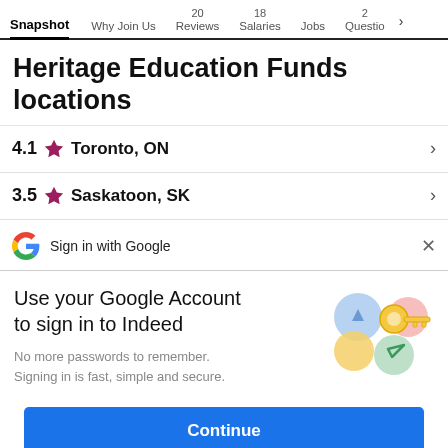Snapshot | Why Join Us | 20 Reviews | 18 Salaries | Jobs | 2 Questions
Heritage Education Funds locations
4.1 ★ Toronto, ON
3.5 ★ Saskatoon, SK
Sign in with Google
Use your Google Account to sign in to Indeed
No more passwords to remember. Signing in is fast, simple and secure.
Continue